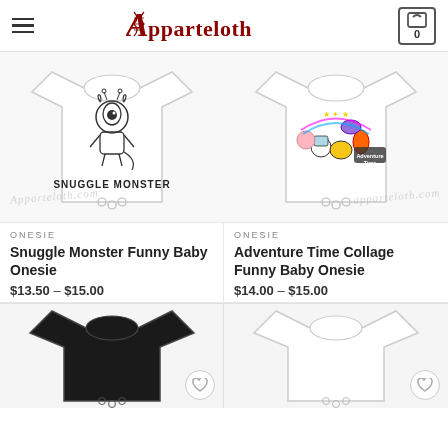Apparteloth — navigation header with hamburger menu, logo, and cart (0)
[Figure (photo): White baby onesie with Snuggle Monster cartoon graphic and watermark 'Apparteloth.com']
[Figure (photo): White baby onesie with Adventure Time characters collage graphic and watermark 'apparteloth.com']
ONESIE
Snuggle Monster Funny Baby Onesie
$13.50 – $15.00
ONESIE
Adventure Time Collage Funny Baby Onesie
$14.00 – $15.00
[Figure (photo): Black baby onesie product thumbnail with wishlist heart icon]
[Figure (photo): White baby onesie product thumbnail with wishlist heart icon]